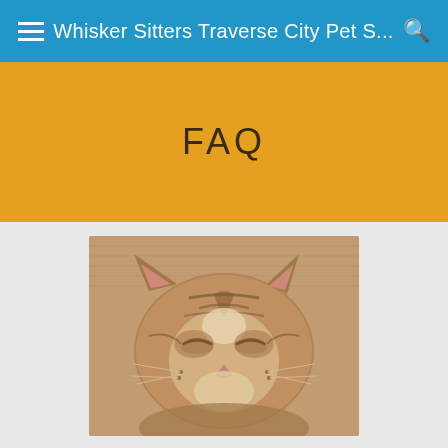Whisker Sitters Traverse City Pet S...
FAQ
[Figure (photo): Close-up photo of a sleeping/smiling tabby kitten with eyes closed, lying on a textured brown surface]